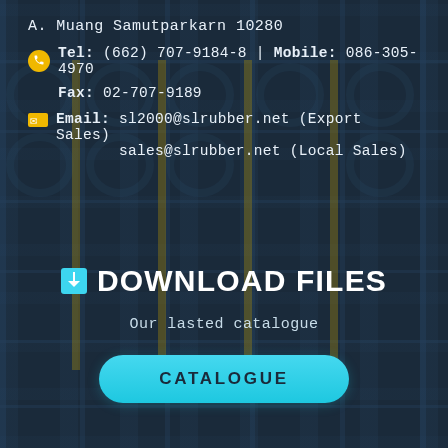A. Muang Samutparkarn 10280
Tel: (662) 707-9184-8 | Mobile: 086-305-4970
Fax: 02-707-9189
Email: sl2000@slrubber.net (Export Sales)
sales@slrubber.net (Local Sales)
⬇ DOWNLOAD FILES
Our lasted catalogue
CATALOGUE